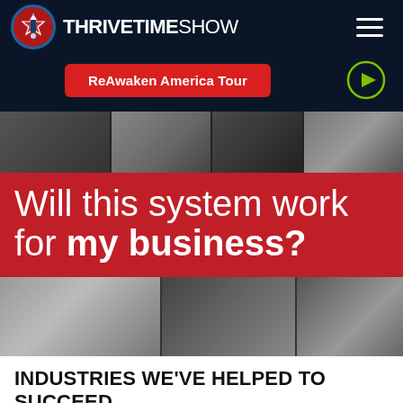THRIVETIME SHOW
ReAwaken America Tour
[Figure (photo): Grayscale collage of business-related images: hands with tablet, person on phone, outdoor scenes]
Will this system work for my business?
[Figure (photo): Grayscale collage: flowers/produce, doctor with stethoscope, truck/road]
INDUSTRIES WE'VE HELPED TO SUCCEED